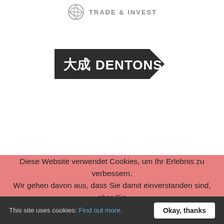[Figure (logo): Trade & Invest logo with stylized globe icon and text 'TRADE & INVEST' in grey]
[Figure (logo): Dentons law firm logo: dark arrow-shaped banner with Chinese characters '大成' and 'DENTONS' in white text]
Diese Website verwendet Cookies, um Ihr Erlebnis zu verbessern. Wir gehen davon aus, dass Sie damit einverstanden sind, aber Sie
This site uses cookies: Find out more.
Okay, thanks